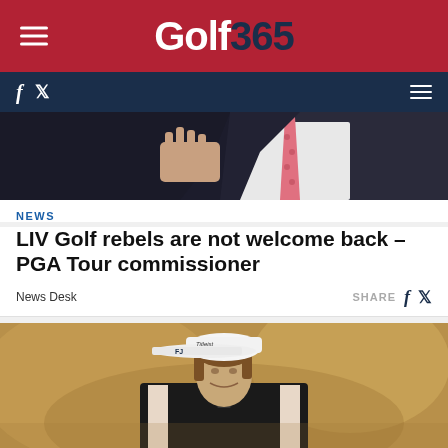Golf 365
[Figure (photo): Man in dark pinstripe suit with pink tie, gesturing with hand]
NEWS
LIV Golf rebels are not welcome back – PGA Tour commissioner
News Desk
[Figure (photo): Golfer wearing white Titleist cap and black vest, looking down]